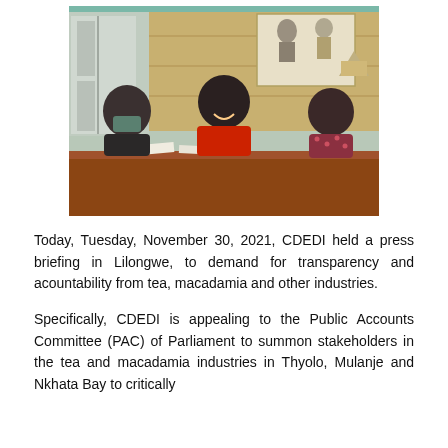[Figure (photo): Three people sitting at a table in an indoor setting. The person on the left wears a dark suit and blue face mask. The person in the center wears a red shirt and is smiling. The person on the right wears a patterned dress. A framed artwork hangs on the wall behind them.]
Today, Tuesday, November 30, 2021, CDEDI held a press briefing in Lilongwe, to demand for transparency and acountability from tea, macadamia and other industries.
Specifically, CDEDI is appealing to the Public Accounts Committee (PAC) of Parliament to summon stakeholders in the tea and macadamia industries in Thyolo, Mulanje and Nkhata Bay to critically